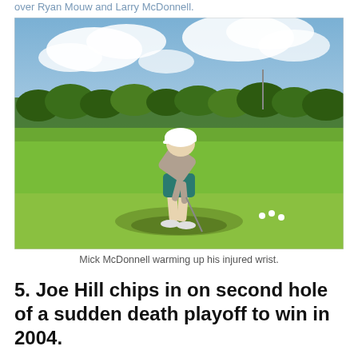over Ryan Mouw and Larry McDonnell.
[Figure (photo): A golfer wearing a white cap, grey shirt, and teal shorts, bent over warming up his wrist on a golf course fairway under a partly cloudy sky. Golf balls are visible on the ground near his feet.]
Mick McDonnell warming up his injured wrist.
5. Joe Hill chips in on second hole of a sudden death playoff to win in 2004.